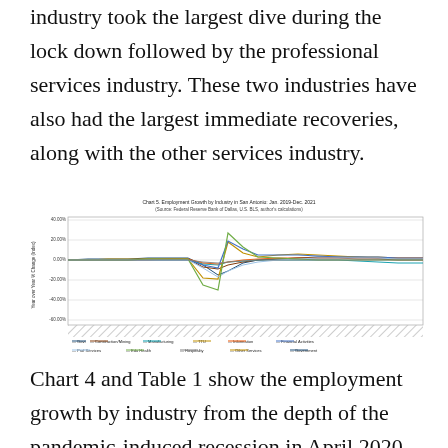industry took the largest dive during the lock down followed by the professional services industry. These two industries have also had the largest immediate recoveries, along with the other services industry.
[Figure (line-chart): Multi-series line chart showing employment growth by industry in San Antonio from Jan 2019 to Dec 2021. Multiple industry lines shown including construction/mining, manufacturing, TTU, information, financial activities, prof services, edu/health, other services, and government. Sharp dip around April 2020 followed by recovery.]
Chart 4 and Table 1 show the employment growth by industry from the depth of the pandemic-induced recession in April 2020 to